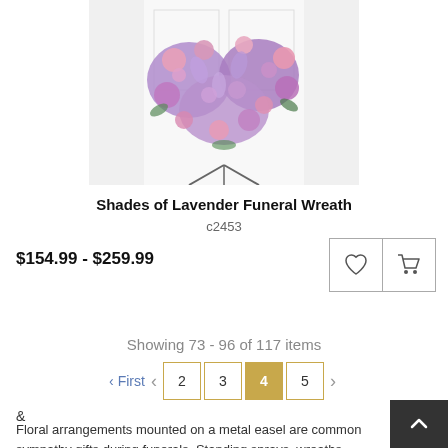[Figure (photo): Heart-shaped funeral wreath made of lavender, pink, and purple flowers mounted on a metal easel stand against a white background]
Shades of Lavender Funeral Wreath
c2453
$154.99 - $259.99
Showing 73 - 96 of 117 items
‹ First  ‹  2  3  4  5  ›
&
Floral arrangements mounted on a metal easel are common sympathy gifts during funerals. Standing sprays, wreaths, cross and heart arrangements have elaborate or simple designs. An array of aromatic roses, hydrangeas, irises with other beautiful flowers compacted to make a heart shape flower